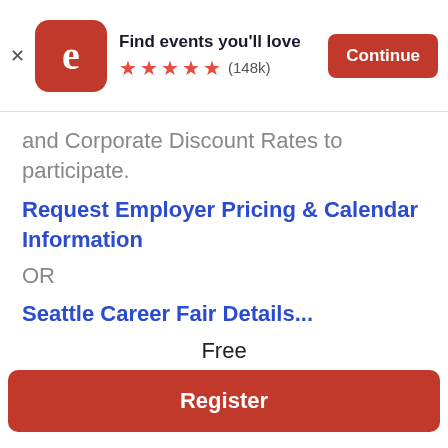[Figure (screenshot): App store banner with Eventbrite logo, 'Find events you'll love' text, 5 orange stars, (148k) reviews, and a Continue button]
and Corporate Discount Rates to participate.
Request Employer Pricing & Calendar Information
OR
Seattle Career Fair Details...
Account Executive, Sales Representative, Customer Service, Account Manager, B2B, retail sales, sales, financial services, customer service, Financial Services, Insurance, Sales Management, Sales Trainee, Management Trainee, At home sales, cold
Free
Register